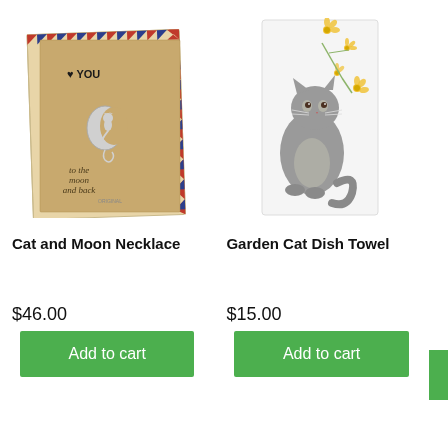[Figure (photo): Cat and Moon Necklace product image: a silver necklace with a cat sitting on a crescent moon pendant, displayed on a kraft card reading 'to the moon and back' inside an airmail envelope]
Cat and Moon Necklace
$46.00
Add to cart
[Figure (photo): Garden Cat Dish Towel product image: a white dish towel printed with a gray cat sitting among yellow flowers]
Garden Cat Dish Towel
$15.00
Add to cart